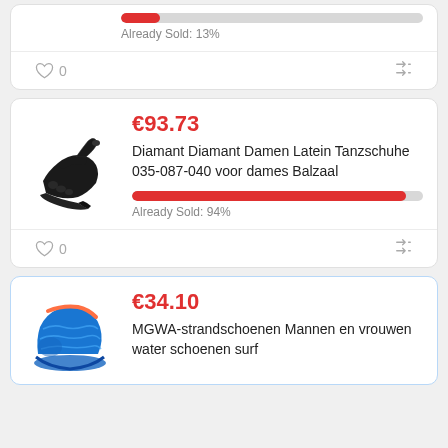[Figure (screenshot): Partial product card at top showing a progress bar and Already Sold 13%, with like (0) and shuffle icons in footer]
[Figure (photo): Black high-heel Latin dance shoe]
€93.73
Diamant Diamant Damen Latein Tanzschuhe 035-087-040 voor dames Balzaal
Already Sold: 94%
[Figure (photo): Blue mesh water shoes]
€34.10
MGWA-strandschoenen Mannen en vrouwen water schoenen surf